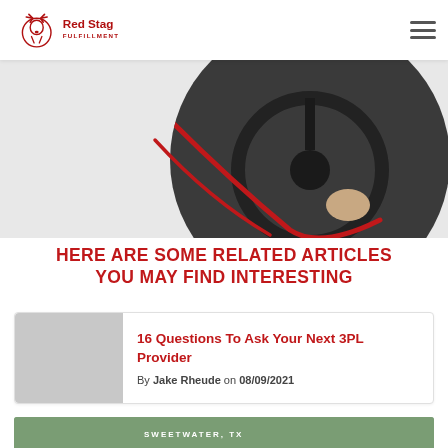Red Stag Fulfillment
[Figure (photo): Circular cropped photo of a person's hands on a steering wheel, with a red cable or strap visible, shot from inside a vehicle. Background is light gray on the left side of the page.]
HERE ARE SOME RELATED ARTICLES YOU MAY FIND INTERESTING
16 Questions To Ask Your Next 3PL Provider
By Jake Rheude on 08/09/2021
[Figure (photo): Partial view of a thumbnail image at the bottom of the page, appears to be an outdoor landscape with text 'SWEETWATER, TX']